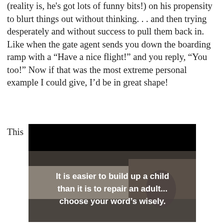(reality is, he's got lots of funny bits!) on his propensity to blurt things out without thinking. . . and then trying desperately and without success to pull them back in. Like when the gate agent sends you down the boarding ramp with a “Have a nice flight!” and you reply, “You too!” Now if that was the most extreme personal example I could give, I’d be in great shape!
This
[Figure (photo): Black and white image of a child sitting, with overlaid white bold text reading: 'It is easier to build up a child than it is to repair an adult... choose your word's wisely.']